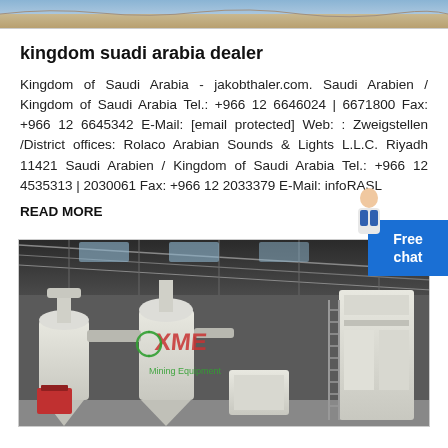[Figure (photo): Partial top image showing a desert/landscape scene, cropped at top]
kingdom suadi arabia dealer
Kingdom of Saudi Arabia - jakobthaler.com. Saudi Arabien / Kingdom of Saudi Arabia Tel.: +966 12 6646024 | 6671800 Fax: +966 12 6645342 E-Mail: [email protected] Web: : Zweigstellen /District offices: Rolaco Arabian Sounds & Lights L.L.C. Riyadh 11421 Saudi Arabien / Kingdom of Saudi Arabia Tel.: +966 12 4535313 | 2030061 Fax: +966 12 2033379 E-Mail: infoRASL
READ MORE
[Figure (photo): Industrial factory interior showing large white mining/milling equipment, cyclone separators, and processing machinery with XME Mining Equipment logo overlay]